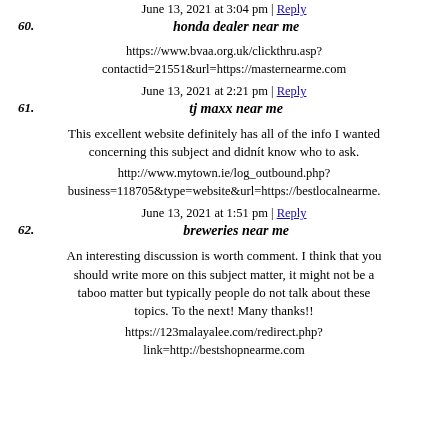June 13, 2021 at 3:04 pm | Reply
60. honda dealer near me
https://www.bvaa.org.uk/clickthru.asp?contactid=21551&url=https://masternearme.com
June 13, 2021 at 2:21 pm | Reply
61. tj maxx near me
This excellent website definitely has all of the info I wanted concerning this subject and didn't know who to ask.
http://www.mytown.ie/log_outbound.php?business=118705&type=website&url=https://bestlocalnearme.
June 13, 2021 at 1:51 pm | Reply
62. breweries near me
An interesting discussion is worth comment. I think that you should write more on this subject matter, it might not be a taboo matter but typically people do not talk about these topics. To the next! Many thanks!!
https://123malayalee.com/redirect.php?link=http://bestshopnearme.com